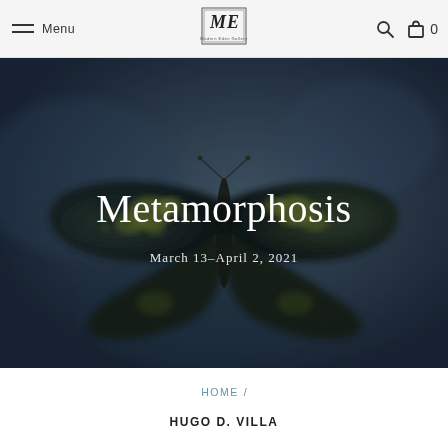Menu  [ME Modern Eden Gallery logo]  [search icon]  [cart] 0
[Figure (photo): Blurred close-up photo of a butterfly with dark wings and yellow-green markings on a dark blue-grey background, used as a hero banner image]
Metamorphosis
March 13–April 2, 2021
HOME /
HUGO D. VILLA